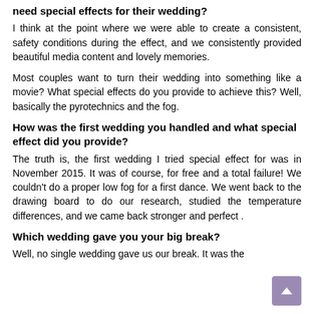need special effects for their wedding?
I think at the point where we were able to create a consistent, safety conditions during the effect, and we consistently provided beautiful media content and lovely memories.
Most couples want to turn their wedding into something like a movie? What special effects do you provide to achieve this? Well,  basically the pyrotechnics and the fog.
How was the first wedding you handled and what special effect did you provide?
The truth is,  the first wedding I tried special effect for was in November 2015. It was  of course,  for free and a total failure! We couldn't do a proper low fog for a first dance. We went  back to the drawing board  to do our research, studied the temperature differences,  and we came back stronger and perfect .
Which wedding gave you your big break?
Well,  no single wedding gave us our break. It was the